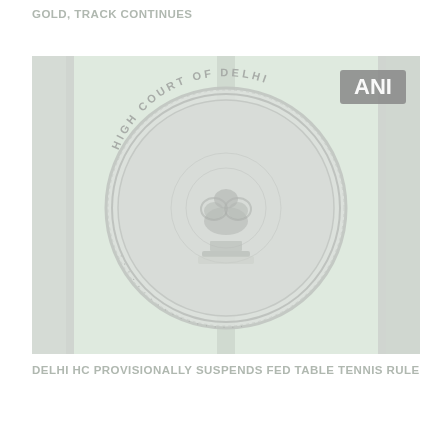GOLD, TRACK CONTINUES
[Figure (photo): Photo of the High Court of Delhi emblem/seal mounted on a gate, with an ANI watermark in the upper right corner. The circular seal shows the Indian national emblem (Lion Capital of Ashoka) with text reading 'HIGH COURT OF DELHI' around the perimeter. The image is faded/washed out in light gray and green tones.]
DELHI HC PROVISIONALLY SUSPENDS FED TABLE TENNIS RULE